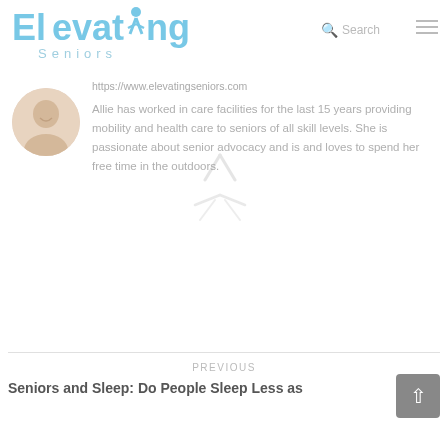[Figure (logo): Elevating Seniors logo with blue text and a person icon replacing the letter 'i' in Elevating]
Search
https://www.elevatingseniors.com
Allie has worked in care facilities for the last 15 years providing mobility and health care to seniors of all skill levels. She is passionate about senior advocacy and is and loves to spend her free time in the outdoors.
PREVIOUS
Seniors and Sleep: Do People Sleep Less as